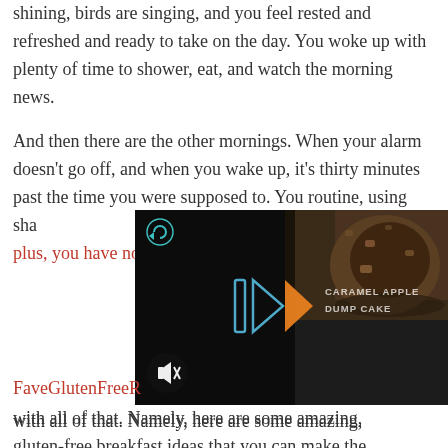shining, birds are singing, and you feel rested and refreshed and ready to take on the day. You woke up with plenty of time to shower, eat, and watch the morning news.
And then there are the other mornings. When your alarm doesn't go off, and when you wake up, it's thirty minutes past the time you were supposed to. You rush through your morning routine, using shampoo as body wash in the shower and vice v... plus, you have no...
[Figure (screenshot): Video player overlay showing a dark image of a baked dessert with play button icon, mute button, refresh icon, and text reading CARAMEL APPLE DUMP CAKE]
FaveGlutenFreeR... with all of that. Namely, here are some amazing, gluten-free breakfast ideas that you can make the night before when time is still on your side. These delicious gluten-free recipes are easy to whip together and will be ready for you in the morning